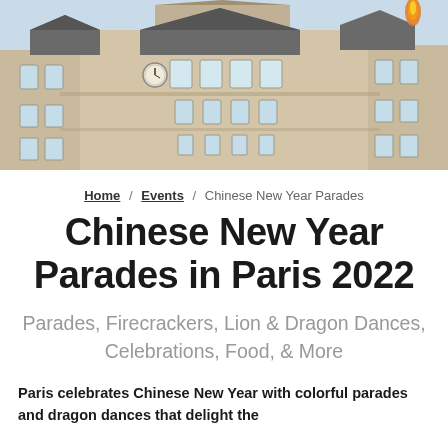[Figure (photo): Photograph of a grand European-style ornate stone building (Hôtel de Ville, Paris) with elaborate façade, clock tower, and dormer windows under a bright sky; a flame visible at the top right corner.]
Home / Events / Chinese New Year Parades
Chinese New Year Parades in Paris 2022
Parades, Firecrackers, Lion & Dragon Dances, Celebrations, Food, & More
Paris celebrates Chinese New Year with colorful parades and dragon dances that delight the...